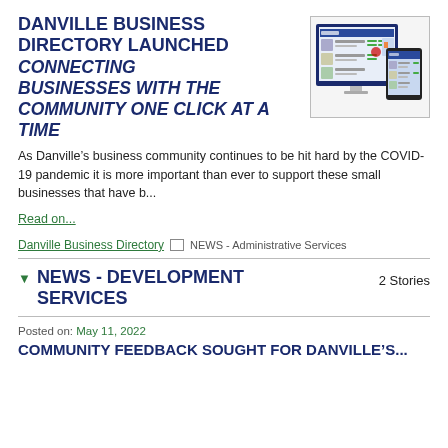DANVILLE BUSINESS DIRECTORY LAUNCHED CONNECTING BUSINESSES WITH THE COMMUNITY ONE CLICK AT A TIME
[Figure (screenshot): Screenshot of a website/app shown on a desktop monitor and tablet device]
As Danville’s business community continues to be hit hard by the COVID-19 pandemic it is more important than ever to support these small businesses that have b...
Read on...
Danville Business Directory □ NEWS - Administrative Services
NEWS - DEVELOPMENT SERVICES
2 Stories
Posted on: May 11, 2022
COMMUNITY FEEDBACK SOUGHT FOR DANVILLE'S...